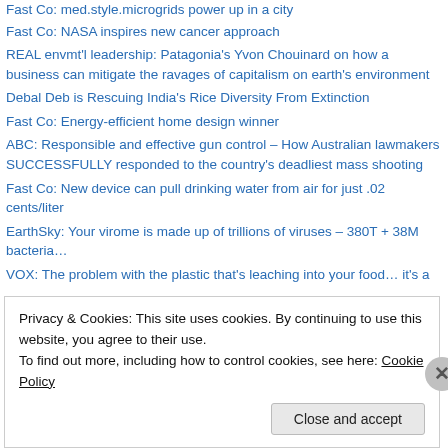Fast Co: med.style.microgrids power up in a city
Fast Co: NASA inspires new cancer approach
REAL envmt'l leadership: Patagonia's Yvon Chouinard on how a business can mitigate the ravages of capitalism on earth's environment
Debal Deb is Rescuing India's Rice Diversity From Extinction
Fast Co: Energy-efficient home design winner
ABC: Responsible and effective gun control – How Australian lawmakers SUCCESSFULLY responded to the country's deadliest mass shooting
Fast Co: New device can pull drinking water from air for just .02 cents/liter
EarthSky: Your virome is made up of trillions of viruses – 380T + 38M bacteria…
VOX: The problem with the plastic that's leaching into your food… it's a
Privacy & Cookies: This site uses cookies. By continuing to use this website, you agree to their use.
To find out more, including how to control cookies, see here: Cookie Policy
Close and accept